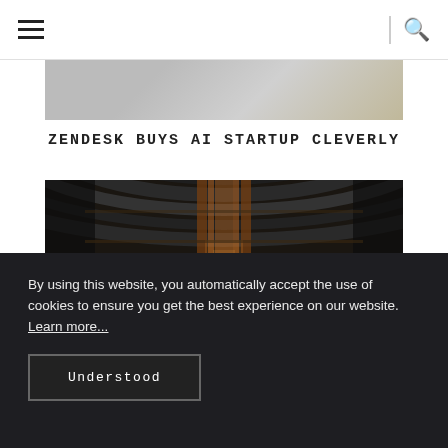Navigation bar with hamburger menu and search icon
[Figure (photo): Partial top image strip, architectural or abstract, greyed out]
ZENDESK BUYS AI STARTUP CLEVERLY
[Figure (photo): Architectural photo of a curved multi-story building interior with orange/amber lighting accents, dark background]
By using this website, you automatically accept the use of cookies to ensure you get the best experience on our website. Learn more...
Understood